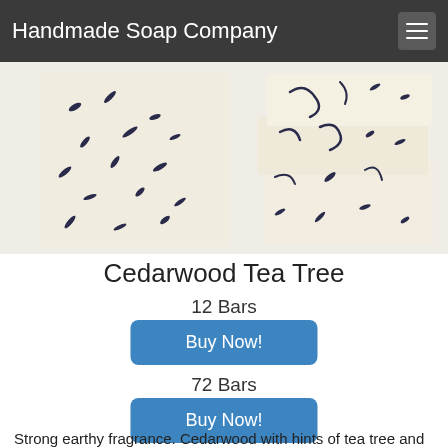Handmade Soap Company
[Figure (photo): Two handmade white soap bars with dark blue/black botanical speckles and swirls, stacked and displayed side by side on a white background.]
Cedarwood Tea Tree
12 Bars
Buy Now!
72 Bars
Buy Now!
Strong earthy fragrance. Cedarwood with hints of tea tree and